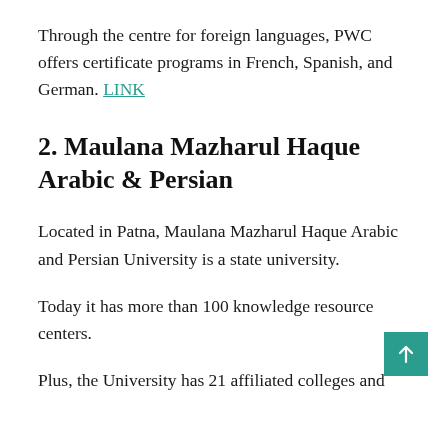Through the centre for foreign languages, PWC offers certificate programs in French, Spanish, and German. LINK
2. Maulana Mazharul Haque Arabic & Persian
Located in Patna, Maulana Mazharul Haque Arabic and Persian University is a state university.
Today it has more than 100 knowledge resource centers.
Plus, the University has 21 affiliated colleges and